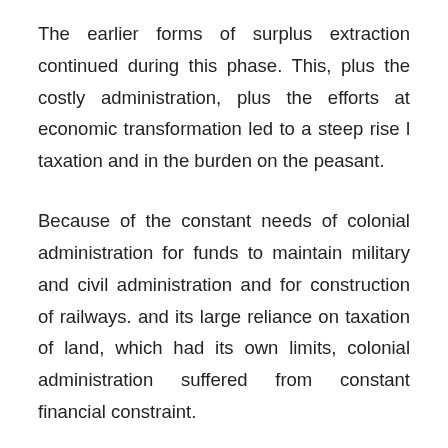The earlier forms of surplus extraction continued during this phase. This, plus the costly administration, plus the efforts at economic transformation led to a steep rise l taxation and in the burden on the peasant.
Because of the constant needs of colonial administration for funds to maintain military and civil administration and for construction of railways. and its large reliance on taxation of land, which had its own limits, colonial administration suffered from constant financial constraint.